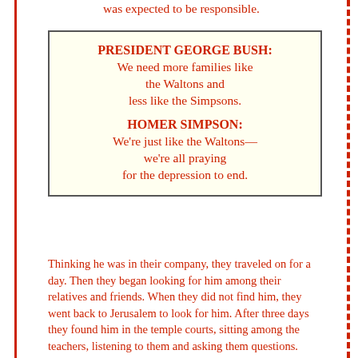was expected to be responsible.
PRESIDENT GEORGE BUSH: We need more families like the Waltons and less like the Simpsons.

HOMER SIMPSON: We're just like the Waltons—we're all praying for the depression to end.
Thinking he was in their company, they traveled on for a day. Then they began looking for him among their relatives and friends. When they did not find him, they went back to Jerusalem to look for him. After three days they found him in the temple courts, sitting among the teachers, listening to them and asking them questions. Everyone who heard him was amazed at his understanding and his answers. When his parents saw him, they